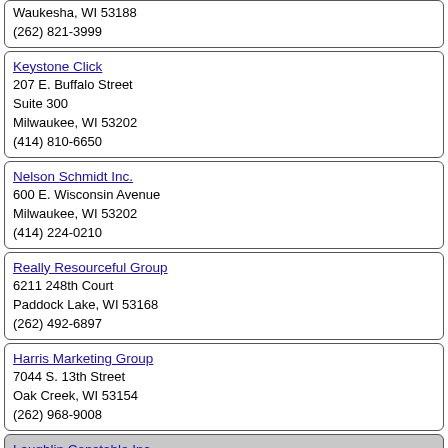Waukesha, WI 53188
(262) 821-3999
Keystone Click
207 E. Buffalo Street
Suite 300
Milwaukee, WI 53202
(414) 810-6650
Nelson Schmidt Inc.
600 E. Wisconsin Avenue
Milwaukee, WI 53202
(414) 224-0210
Really Resourceful Group
6211 248th Court
Paddock Lake, WI 53168
(262) 492-6897
Harris Marketing Group
7044 S. 13th Street
Oak Creek, WI 53154
(262) 968-9008
Laughlin Constable Inc.
207 E. Michigan Street
Milwaukee, WI 53202
(414) 272-2400
Creative Marketing Resources
250 E. Wisconsin Avenue